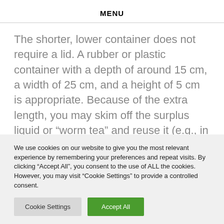MENU
The shorter, lower container does not require a lid. A rubber or plastic container with a depth of around 15 cm, a width of 25 cm, and a height of 5 cm is appropriate. Because of the extra length, you may skim off the surplus liquid or “worm tea” and reuse it (e.g., in the garden, for plants,
We use cookies on our website to give you the most relevant experience by remembering your preferences and repeat visits. By clicking “Accept All”, you consent to the use of ALL the cookies. However, you may visit “Cookie Settings” to provide a controlled consent.